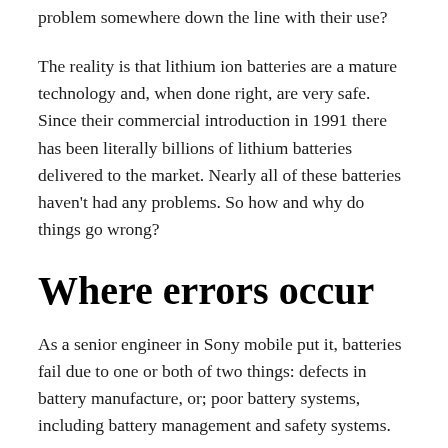problem somewhere down the line with their use?
The reality is that lithium ion batteries are a mature technology and, when done right, are very safe. Since their commercial introduction in 1991 there has been literally billions of lithium batteries delivered to the market. Nearly all of these batteries haven't had any problems. So how and why do things go wrong?
Where errors occur
As a senior engineer in Sony mobile put it, batteries fail due to one or both of two things: defects in battery manufacture, or; poor battery systems, including battery management and safety systems.